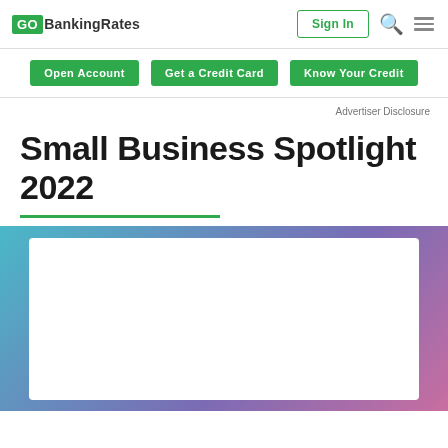GO BankingRates — Sign In
Open Account | Get a Credit Card | Know Your Credit
Advertiser Disclosure
Small Business Spotlight 2022
[Figure (illustration): Gradient banner with blue-to-purple-to-pink gradient background and a white rectangular card area in the center.]